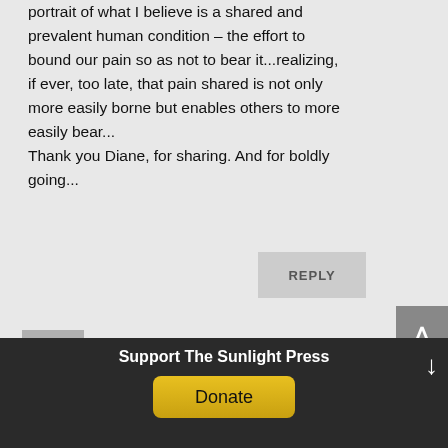portrait of what I believe is a shared and prevalent human condition – the effort to bound our pain so as not to bear it...realizing, if ever, too late, that pain shared is not only more easily borne but enables others to more easily bear...
Thank you Diane, for sharing. And for boldly going...
REPLY
Margot kravette on
Support The Sunlight Press
Donate